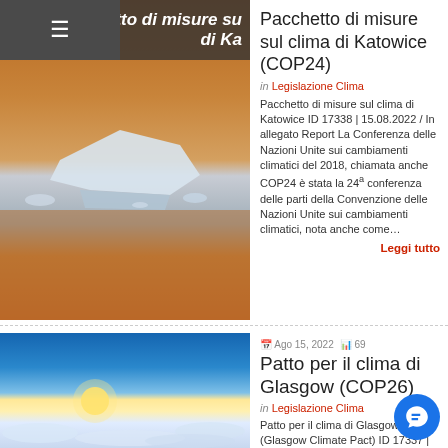[Figure (photo): Photo of an iceberg floating in orange-tinted water, likely depicting climate change or Arctic melting]
Pacchetto di misure sul clima di Katowice (COP24)
in Legislazione Clima
Pacchetto di misure sul clima di Katowice ID 17338 | 15.08.2022 / In allegato Report La Conferenza delle Nazioni Unite sui cambiamenti climatici del 2018, chiamata anche COP24 è stata la 24ª conferenza delle parti della Convenzione delle Nazioni Unite sui cambiamenti climatici, nota anche come... Leggi tutto
[Figure (photo): Photo of blue sky with clouds and horizon, depicting atmosphere]
Ago 15, 2022  69
Patto per il clima di Glasgow (COP26)
in Legislazione Clima
Patto per il clima di Glasgow (Glasgow Climate Pact) ID 17337 | 15.08.2022 Il Patto per il clima di Glasgow (Glasgow Climate P... un accordo raggiunto il 13